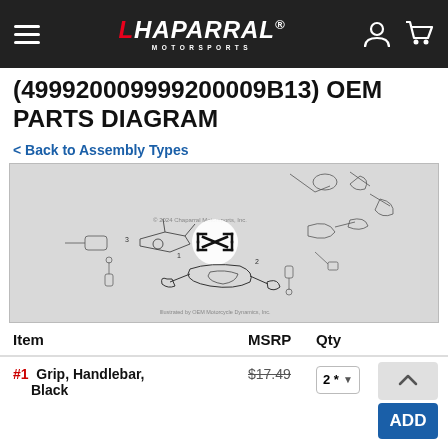Chaparral Motorsports
(499920009999200009B13) OEM PARTS DIAGRAM
< Back to Assembly Types
[Figure (engineering-diagram): OEM parts diagram showing exploded view of handlebar grip assembly components with numbered callouts]
| Item | MSRP | Qty |  |
| --- | --- | --- | --- |
| #1  Grip, Handlebar, Black | $17.49 | 2 * | ADD |